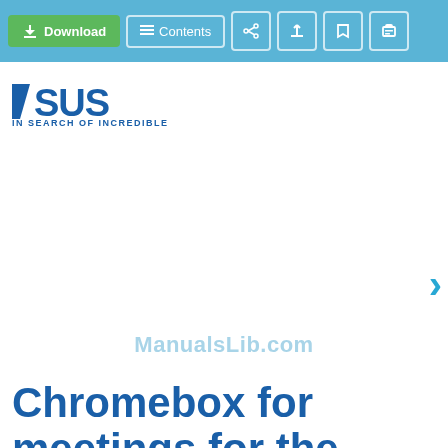[Figure (screenshot): Web browser toolbar with Download button (green), Contents button, share, plus, bookmark, and print icons on a blue background]
[Figure (logo): ASUS logo with text '7SUS' stylized and tagline 'IN SEARCH OF INCREDIBLE' in dark blue]
ManualsLib.com
Chromebox for meetings for the